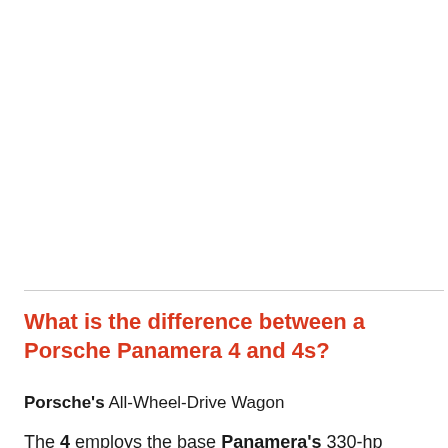What is the difference between a Porsche Panamera 4 and 4s?
Porsche's All-Wheel-Drive Wagon
The 4 employs the base Panamera's 330-hp turbocharged 3.0-liter V-6, while the 4S is